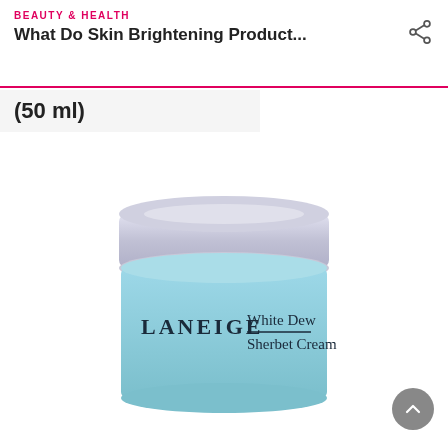BEAUTY & HEALTH
What Do Skin Brightening Product...
(50 ml)
[Figure (photo): Laneige White Dew Sherbet Cream jar with silver lid and light blue frosted glass container, displaying the brand name LANEIGE and product name White Dew Sherbet Cream on a white background.]